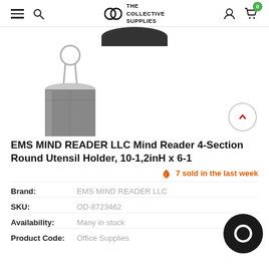The Collective Supplies
[Figure (photo): Product image of a round utensil holder with 4 sections, cylindrical shape with a loop handle on top, shown in dark grey/silver color]
EMS MIND READER LLC Mind Reader 4-Section Round Utensil Holder, 10-1,2inH x 6-1
7 sold in the last week
| Brand: | EMS MIND READER LLC |
| SKU: | OD-8723462 |
| Availability: | Many in stock |
| Product Code: | Office Supplies |